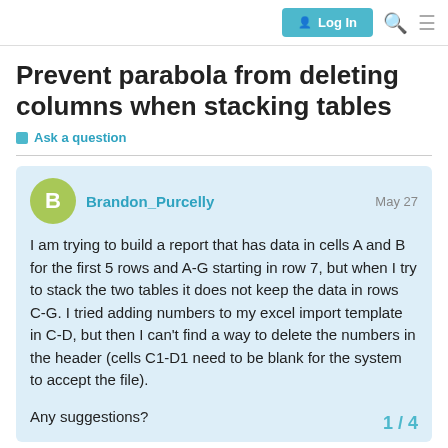Log In
Prevent parabola from deleting columns when stacking tables
Ask a question
Brandon_Purcelly   May 27
I am trying to build a report that has data in cells A and B for the first 5 rows and A-G starting in row 7, but when I try to stack the two tables it does not keep the data in rows C-G. I tried adding numbers to my excel import template in C-D, but then I can't find a way to delete the numbers in the header (cells C1-D1 need to be blank for the system to accept the file).

Any suggestions?
1 / 4